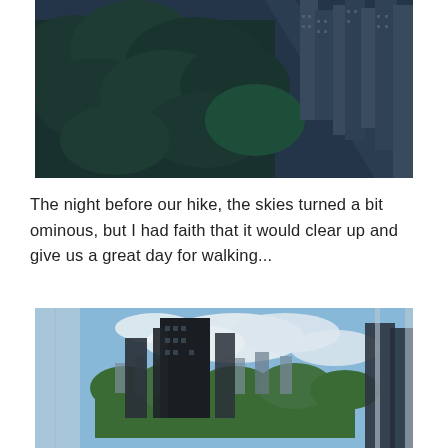[Figure (photo): Aerial view of Central Park in New York City showing dense green tree canopy on the left and Manhattan skyscrapers lining the right side, with a blue-toned haze over the cityscape.]
The night before our hike, the skies turned a bit ominous, but I had faith that it would clear up and give us a great day for walking...
[Figure (photo): View from a high-rise hotel window looking out over Central Park and surrounding Manhattan skyscrapers under a partly cloudy blue sky, with window reflections visible on the left and right edges.]